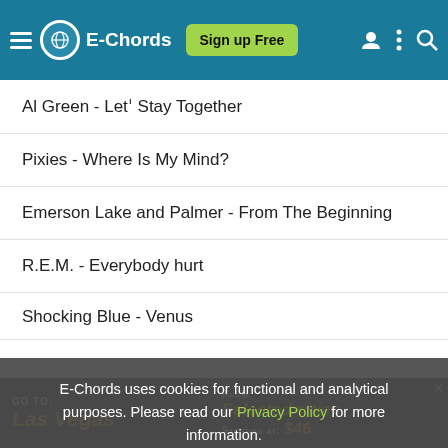E-Chords | Sign up Free
Al Green - Letˈ Stay Together
Pixies - Where Is My Mind?
Emerson Lake and Palmer - From The Beginning
R.E.M. - Everybody hurt
Shocking Blue - Venus
E-Chords uses cookies for functional and analytical purposes. Please read our Privacy Policy for more information.
[Figure (screenshot): Advertisement banner: GO TO: Las Vegas | FROM: Selected cities STARTING AT: $46]